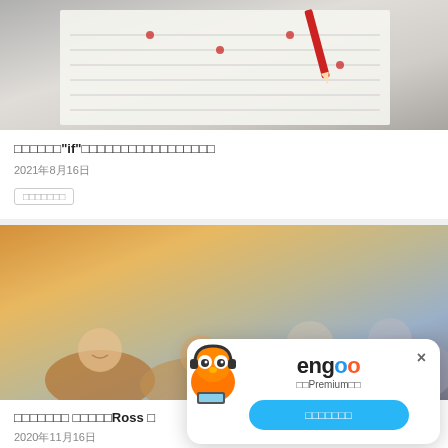[Figure (photo): Close-up of a music sheet or lined paper with a red pen/pencil writing, on a wooden desk. Blurred background with keyboard visible.]
□□□□□□"if"□□□□□□□□□□□□□□□□□
2021年8月16日
□□□□□□□
[Figure (photo): Group of smiling young people looking up at camera, warm golden light, outdoor setting.]
□□□□□□□ □□□□□Ross □
2020年11月16日
□□□
[Figure (logo): Engoo mascot (orange owl with headphones) and Engoo logo with 'engoo' text and Premium badge and blue CTA button.]